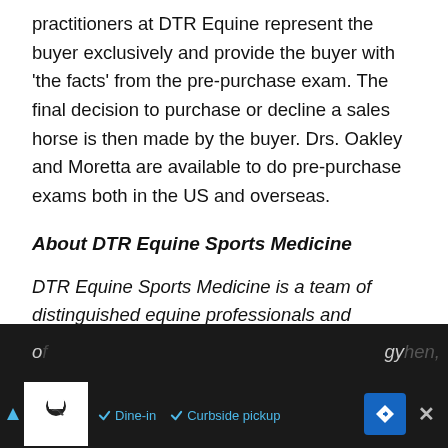practitioners at DTR Equine represent the buyer exclusively and provide the buyer with 'the facts' from the pre-purchase exam. The final decision to purchase or decline a sales horse is then made by the buyer. Drs. Oakley and Moretta are available to do pre-purchase exams both in the US and overseas.
About DTR Equine Sports Medicine
DTR Equine Sports Medicine is a team of distinguished equine professionals and educators who offer a proven, scientific, team approach to equine sports medicine. They evaluate the entire horse, beyond symptoms and uncover the root cause of...